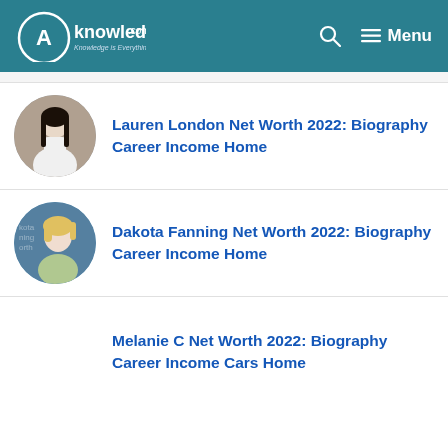AKnowledge.com — Knowledge is Everything | Menu
[Figure (photo): Circular thumbnail photo of Lauren London]
Lauren London Net Worth 2022: Biography Career Income Home
[Figure (photo): Circular thumbnail photo of Dakota Fanning]
Dakota Fanning Net Worth 2022: Biography Career Income Home
Melanie C Net Worth 2022: Biography Career Income Cars Home